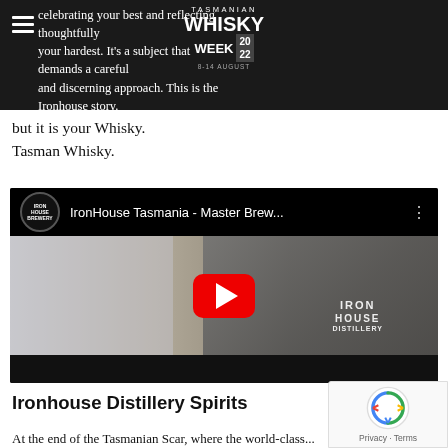celebrating your best and reflecting thoughtfully your hardest. It's a subject that demands a careful and discerning approach. This is the Ironhouse story.
but it is your Whisky.
Tasman Whisky.
[Figure (screenshot): YouTube video thumbnail for 'IronHouse Tasmania - Master Brew...' showing a man in an Iron House Distillery shirt smelling a glass of whisky. Red YouTube play button in center.]
Ironhouse Distillery Spirits
At the end of the Tasmanian Scar, where the world-class...